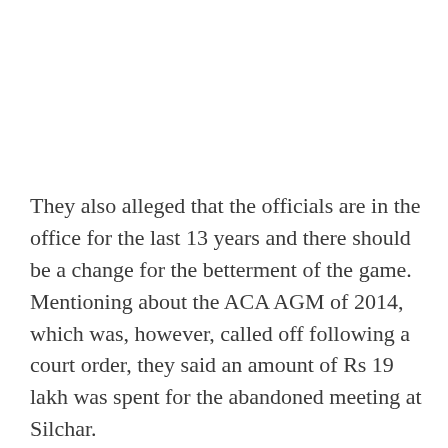They also alleged that the officials are in the office for the last 13 years and there should be a change for the betterment of the game. Mentioning about the ACA AGM of 2014, which was, however, called off following a court order, they said an amount of Rs 19 lakh was spent for the abandoned meeting at Silchar.
Giving a statement of accounts of the ACA for the last five years, from 2008 to 2013, the former cricketers said,